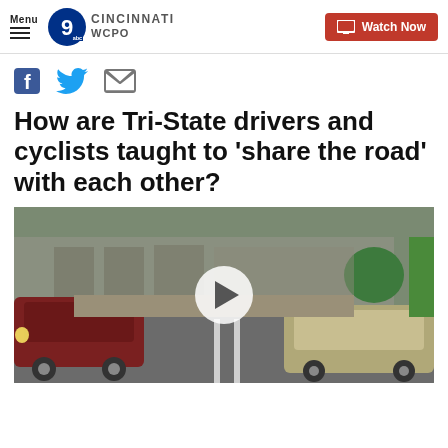Menu | WCPO 9 ABC CINCINNATI | Watch Now
[Figure (screenshot): Social media share icons: Facebook, Twitter, Email]
How are Tri-State drivers and cyclists taught to 'share the road' with each other?
[Figure (photo): Video thumbnail showing a street scene with cars and a cyclist, with a play button overlay]